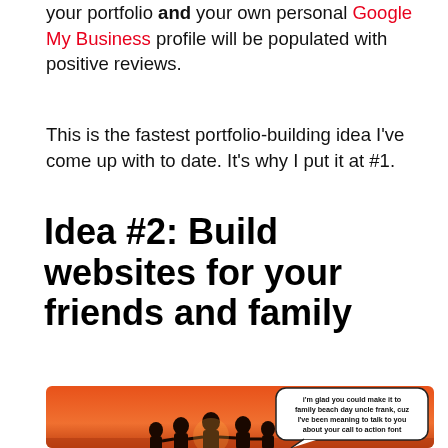your portfolio and your own personal Google My Business profile will be populated with positive reviews.
This is the fastest portfolio-building idea I've come up with to date. It's why I put it at #1.
Idea #2: Build websites for your friends and family
[Figure (illustration): Silhouettes of a family holding hands on a beach at sunset with orange/red sky, and a speech bubble saying: i'm glad you could make it to family beach day uncle frank, cuz I've been meaning to talk to you about your call to action font]